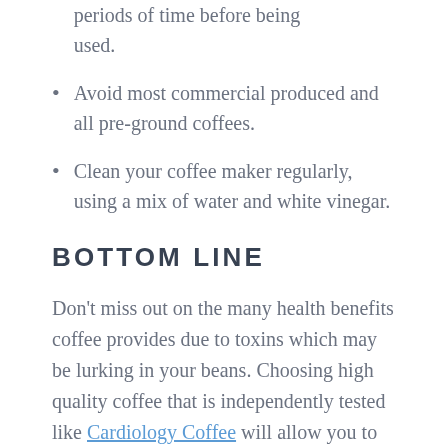periods of time before being used.
Avoid most commercial produced and all pre-ground coffees.
Clean your coffee maker regularly, using a mix of water and white vinegar.
BOTTOM LINE
Don't miss out on the many health benefits coffee provides due to toxins which may be lurking in your beans. Choosing high quality coffee that is independently tested like Cardiology Coffee will allow you to enjoy this